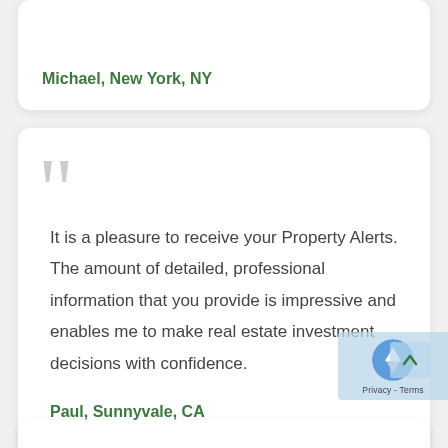Michael, New York, NY
It is a pleasure to receive your Property Alerts. The amount of detailed, professional information that you provide is impressive and enables me to make real estate investment decisions with confidence.
Paul, Sunnyvale, CA